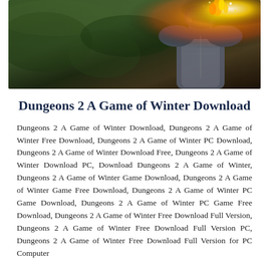[Figure (photo): Dark fantasy game screenshot showing armored warrior with flaming helmet/crown against a murky green-brown background]
Dungeons 2 A Game of Winter Download
Dungeons 2 A Game of Winter Download, Dungeons 2 A Game of Winter Free Download, Dungeons 2 A Game of Winter PC Download, Dungeons 2 A Game of Winter Download Free, Dungeons 2 A Game of Winter Download PC, Download Dungeons 2 A Game of Winter, Dungeons 2 A Game of Winter Game Download, Dungeons 2 A Game of Winter Game Free Download, Dungeons 2 A Game of Winter PC Game Download, Dungeons 2 A Game of Winter PC Game Free Download, Dungeons 2 A Game of Winter Free Download Full Version, Dungeons 2 A Game of Winter Free Download Full Version PC, Dungeons 2 A Game of Winter Free Download Full Version for PC Computer